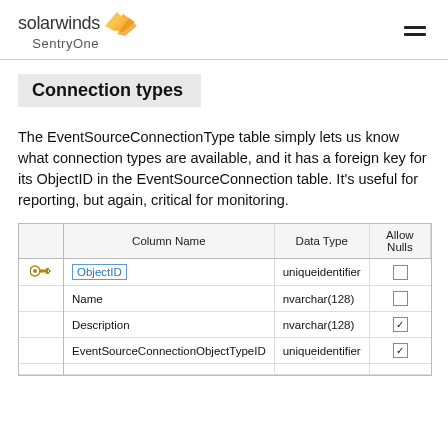solarwinds SentryOne
Connection types
The EventSourceConnectionType table simply lets us know what connection types are available, and it has a foreign key for its ObjectID in the EventSourceConnection table. It's useful for reporting, but again, critical for monitoring.
|  | Column Name | Data Type | Allow Nulls |
| --- | --- | --- | --- |
| 🔑 | ObjectID | uniqueidentifier | ☐ |
|  | Name | nvarchar(128) | ☐ |
|  | Description | nvarchar(128) | ☑ |
|  | EventSourceConnectionObjectTypeID | uniqueidentifier | ☑ |
|  |  |  |  |